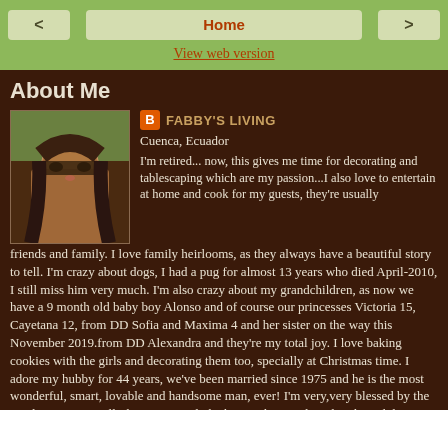< Home >
View web version
About Me
[Figure (photo): Profile photo of a woman with sunglasses and long dark hair, outdoors with greenery in background]
FABBY'S LIVING
Cuenca, Ecuador
I'm retired... now, this gives me time for decorating and tablescaping which are my passion...I also love to entertain at home and cook for my guests, they're usually friends and family. I love family heirlooms, as they always have a beautiful story to tell. I'm crazy about dogs, I had a pug for almost 13 years who died April-2010, I still miss him very much. I'm also crazy about my grandchildren, as now we have a 9 month old baby boy Alonso and of course our princesses Victoria 15, Cayetana 12, from DD Sofia and Maxima 4 and her sister on the way this November 2019.from DD Alexandra and they're my total joy. I love baking cookies with the girls and decorating them too, specially at Christmas time. I adore my hubby for 44 years, we've been married since 1975 and he is the most wonderful, smart, lovable and handsome man, ever! I'm very,very blessed by the Lord, I owe HIM all I have received, the home I love and my lovely and dear family.